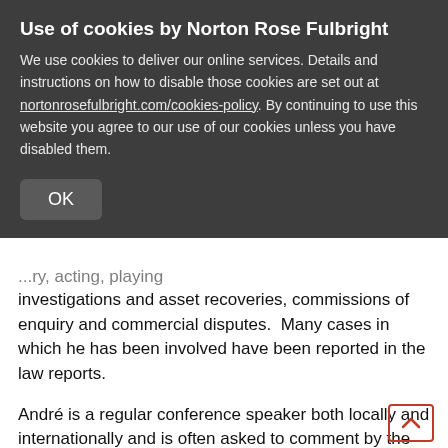Use of cookies by Norton Rose Fulbright
We use cookies to deliver our online services. Details and instructions on how to disable those cookies are set out at nortonrosefulbright.com/cookies-policy. By continuing to use this website you agree to our use of our cookies unless you have disabled them.
OK
investigations and asset recoveries, commissions of enquiry and commercial disputes.  Many cases in which he has been involved have been reported in the law reports.
André is a regular conference speaker both locally and internationally and is often asked to comment by the broadcast media on topics within his area of knowledge.  He is also a widely published author of articles.